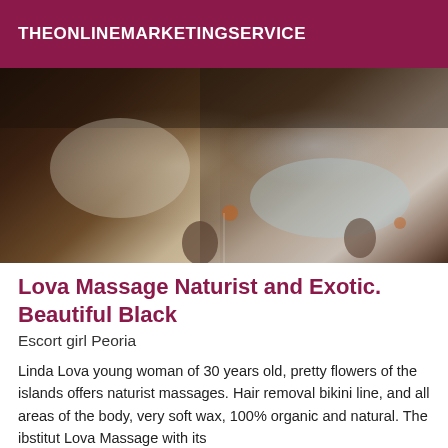THEONLINEMARKETINGSERVICE
[Figure (photo): Photo showing massage therapy scene with dark-skinned individuals, massage cups visible in foreground]
Lova Massage Naturist and Exotic. Beautiful Black
Escort girl Peoria
Linda Lova young woman of 30 years old, pretty flowers of the islands offers naturist massages. Hair removal bikini line, and all areas of the body, very soft wax, 100% organic and natural. The ibstitut Lova Massage with its